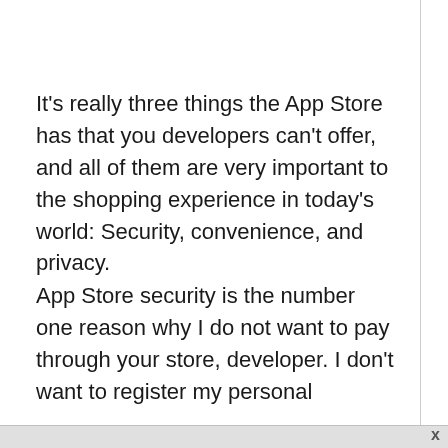It's really three things the App Store has that you developers can't offer, and all of them are very important to the shopping experience in today's world: Security, convenience, and privacy.
App Store security is the number one reason why I do not want to pay through your store, developer. I don't want to register my personal